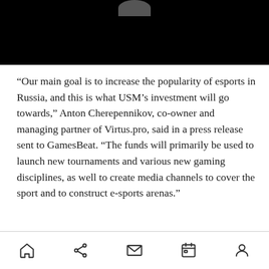[Figure (photo): Dark/black background image with a partially visible grey circular shape at the top center, consistent with a person's profile photo cropped at the top of the screen.]
“Our main goal is to increase the popularity of esports in Russia, and this is what USM’s investment will go towards,” Anton Cherepennikov, co-owner and managing partner of Virtus.pro, said in a press release sent to GamesBeat. “The funds will primarily be used to launch new tournaments and various new gaming disciplines, as well to create media channels to cover the sport and to construct e-sports arenas.”
Navigation bar with home, share, mail, calendar, and profile icons